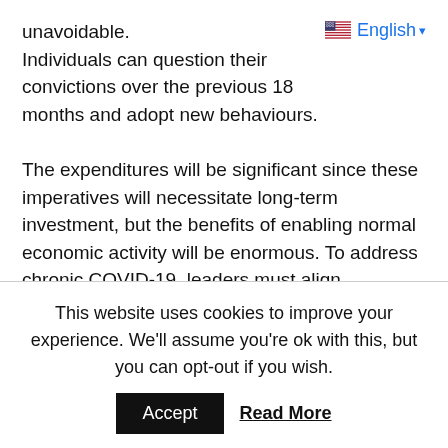unavoidable. Individuals can question their convictions over the previous 18 months and adopt new behaviours.
The expenditures will be significant since these imperatives will necessitate long-term investment, but the benefits of enabling normal economic activity will be enormous. To address chronic COVID-19, leaders must align incentives so that appropriate investment is undertaken across industries. The attitude transition is perhaps the most difficult of all, as we gradually recognise that COVID-19 is not a fad that we can forget about, but rather a structural transformation in how we live that necessitates lasting changes in behaviour. However, if we are to
This website uses cookies to improve your experience. We'll assume you're ok with this, but you can opt-out if you wish.
Accept   Read More